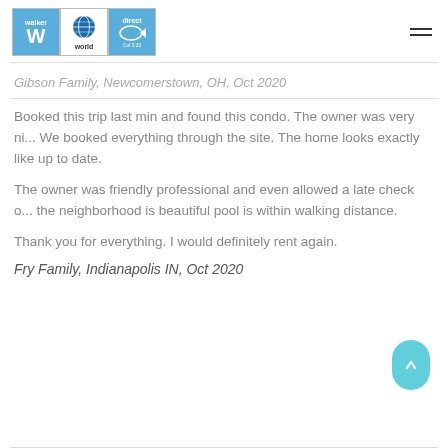[Figure (logo): Walker World Direct logo composed of three tiled boxes: blue 'walker W' box, white globe 'world' box, blue 'direct' fish symbol box]
Gibson Family, Newcomerstown, OH, Oct 2020
Booked this trip last min and found this condo. The owner was very ni... We booked everything through the site. The home looks exactly like... up to date.
The owner was friendly professional and even allowed a late check o... the neighborhood is beautiful pool is within walking distance.
Thank you for everything. I would definitely rent again.
Fry Family, Indianapolis IN, Oct 2020